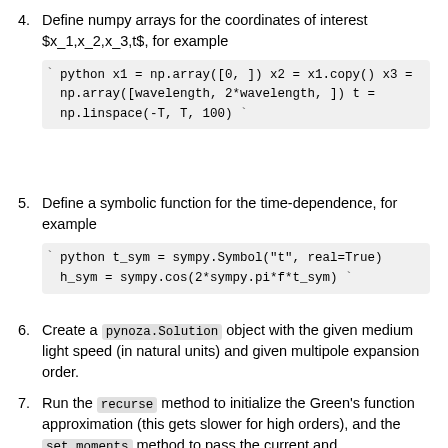4. Define numpy arrays for the coordinates of interest $x_1,x_2,x_3,t$, for example
` python x1 = np.array([0, ]) x2 = x1.copy() x3 = np.array([wavelength, 2*wavelength, ]) t = np.linspace(-T, T, 100) `
5. Define a symbolic function for the time-dependence, for example
` python t_sym = sympy.Symbol("t", real=True) h_sym = sympy.cos(2*sympy.pi*f*t_sym) `
6. Create a pynoza.Solution object with the given medium light speed (in natural units) and given multipole expansion order.
7. Run the recurse method to initialize the Green's function approximation (this gets slower for high orders), and the set_moments method to pass the current and